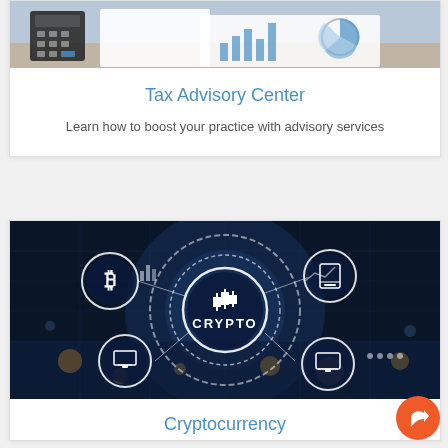[Figure (photo): Photo of financial documents with charts and a calculator on a desk]
Tax Advisory Center
Learn how to boost your practice with advisory services
[Figure (photo): Digital cryptocurrency concept image with Bitcoin symbol and 'CRYPTO' text in center with connected financial icons on dark blue background]
Cryptocurrency